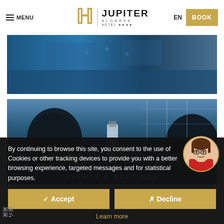MENU | JUPITER ALGARVE HOTEL | EN | BOOK
[Figure (photo): Conference room top view with blue surfaces]
[Figure (photo): Conference room with water bottle and chairs, overlay text: YOUR BUSINESS CENTRE IN PRAIA DA ROCHA / EVENTS & MEETINGS]
YOUR BUSINESS CENTRE IN PRAIA DA ROCHA
EVENTS & MEETINGS
By continuing to browse this site, you consent to the use of Cookies or other tracking devices to provide you with a better browsing experience, targeted messages and for statistical purposes.
✓ Accept
✗ Decline
Learn more